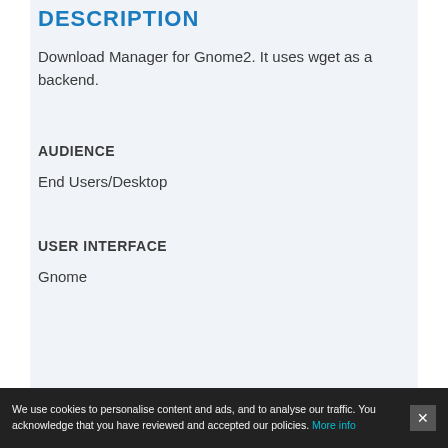DESCRIPTION
Download Manager for Gnome2. It uses wget as a backend.
AUDIENCE
End Users/Desktop
USER INTERFACE
Gnome
We use cookies to personalise content and ads, and to analyse our traffic. You acknowledge that you have reviewed and accepted our policies. More info